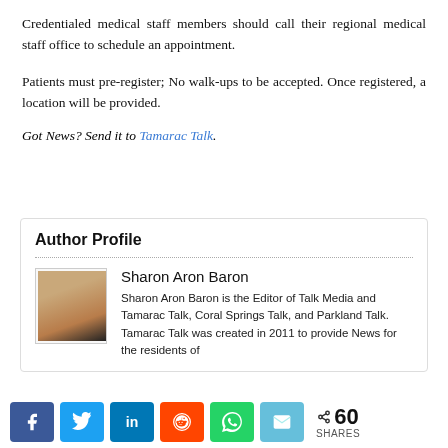Credentialed medical staff members should call their regional medical staff office to schedule an appointment.
Patients must pre-register; No walk-ups to be accepted. Once registered, a location will be provided.
Got News? Send it to Tamarac Talk.
Author Profile
[Figure (photo): Portrait photo of Sharon Aron Baron]
Sharon Aron Baron
Sharon Aron Baron is the Editor of Talk Media and Tamarac Talk, Coral Springs Talk, and Parkland Talk. Tamarac Talk was created in 2011 to provide News for the residents of
60 SHARES